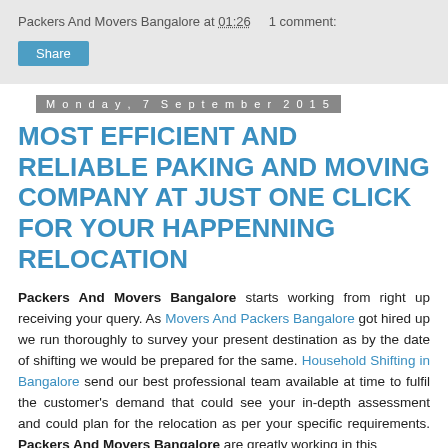Packers And Movers Bangalore at 01:26    1 comment:
Share
Monday, 7 September 2015
MOST EFFICIENT AND RELIABLE PAKING AND MOVING COMPANY AT JUST ONE CLICK FOR YOUR HAPPENNING RELOCATION
Packers And Movers Bangalore starts working from right up receiving your query. As Movers And Packers Bangalore got hired up we run thoroughly to survey your present destination as by the date of shifting we would be prepared for the same. Household Shifting in Bangalore send our best professional team available at time to fulfil the customer's demand that could see your in-depth assessment and could plan for the relocation as per your specific requirements. Packers And Movers Bangalore are greatly working in this